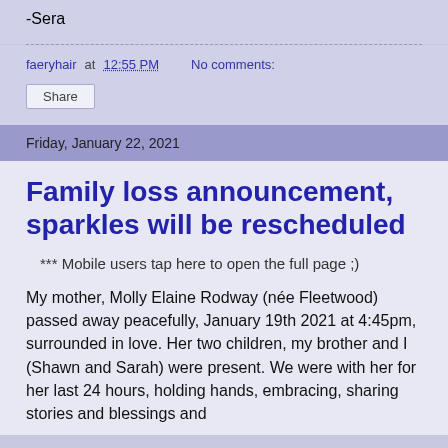-Sera
faeryhair at 12:55 PM   No comments:
Share
Friday, January 22, 2021
Family loss announcement, sparkles will be rescheduled
*** Mobile users tap here to open the full page ;)
My mother, Molly Elaine Rodway (née Fleetwood) passed away peacefully, January 19th 2021 at 4:45pm, surrounded in love. Her two children, my brother and I (Shawn and Sarah) were present. We were with her for her last 24 hours, holding hands, embracing, sharing stories and blessings and